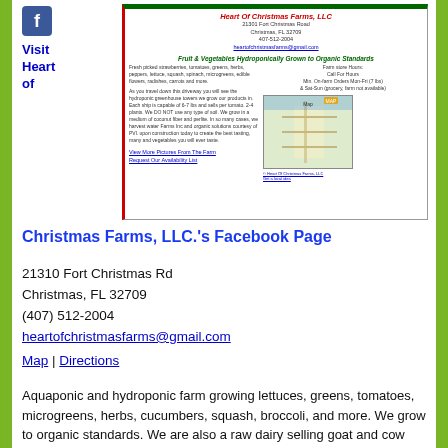[Figure (screenshot): Heart Of Christmas Farms, LLC farm card/flyer with address, tagline, description, map image, and links]
Visit Heart of
Christmas Farms, LLC.'s Facebook Page
21310 Fort Christmas Rd
Christmas, FL 32709
(407) 512-2004
heartofchristmasfarms@gmail.com
Map | Directions
Aquaponic and hydroponic farm growing lettuces, greens, tomatoes, microgreens, herbs, cucumbers, squash, broccoli, and more. We grow to organic standards. We are also a raw dairy selling goat and cow milk, cheese, yogurt, butter, eggs, and more.